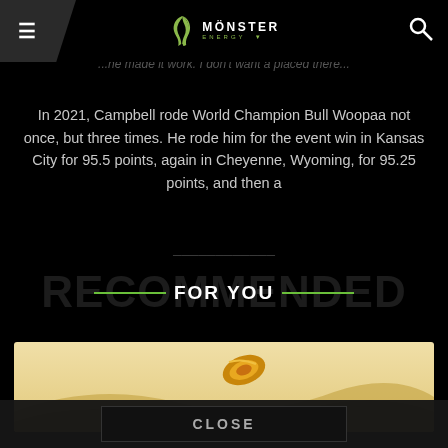Monster Energy
...he made it work. I don't want a placed there...
In 2021, Campbell rode World Champion Bull Woopaa not once, but three times. He rode him for the event win in Kansas City for 95.5 points, again in Cheyenne, Wyoming, for 95.25 points, and then a...
RECOMMENDED FOR YOU
[Figure (photo): Kite surfing or paragliding kite over sand dunes, beige/tan background]
CLOSE